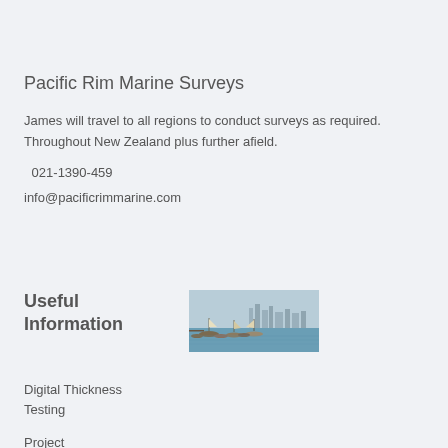Pacific Rim Marine Surveys
James will travel to all regions to conduct surveys as required. Throughout New Zealand plus further afield.
021-1390-459
info@pacificrimmarine.com
Useful Information
[Figure (photo): Marina with sailboats and city skyline in background]
Digital Thickness Testing
Project Management
Consultation